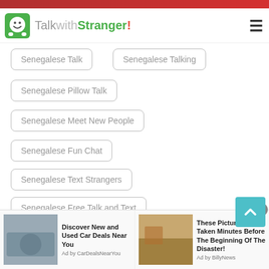[Figure (logo): TalkwithStranger! logo with green smiley icon]
Senegalese Talk
Senegalese Talking
Senegalese Pillow Talk
Senegalese Meet New People
Senegalese Fun Chat
Senegalese Text Strangers
Senegalese Free Talk and Text
Senegalese Latin Chat
Senegalese Talk to Someone
[Figure (screenshot): Advertisement: Discover New and Used Car Deals Near You - Ad by CarDealsNearYou]
[Figure (screenshot): Advertisement: These Pictures Was Taken Minutes Before The Beginning Of The Disaster! - Ad by BillyNews]